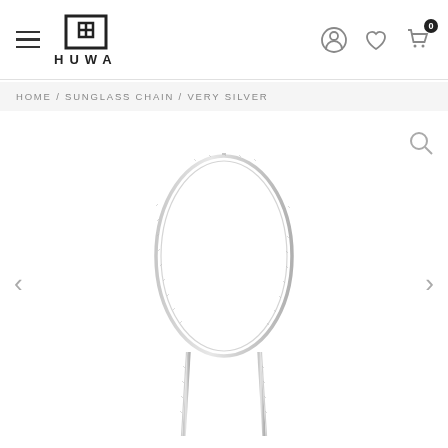HUWA — navigation header with hamburger menu, logo, account icon, wishlist icon, cart icon with badge 0
HOME / SUNGLASS CHAIN / VERY SILVER
[Figure (photo): Silver sunglass chain product photo: a thin silver snake chain forming a large oval loop with two dangling ends hanging downward, on white background]
[Figure (other): Left navigation arrow chevron]
[Figure (other): Right navigation arrow chevron]